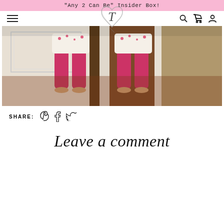"Any 2 Can Be" Insider Box!
[Figure (logo): Decorative heart with cursive T logo, website header logo]
[Figure (photo): Two children standing in a doorway wearing pink/polka-dot tops and pink pants, shot from waist down, on hardwood floor]
SHARE: [Pinterest] [Facebook] [Twitter]
Leave a comment